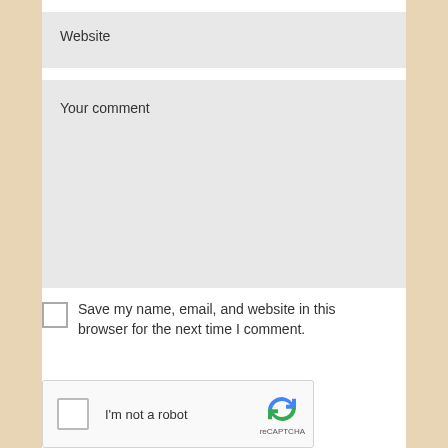Website
Your comment
Save my name, email, and website in this browser for the next time I comment.
[Figure (other): reCAPTCHA widget with checkbox and 'I'm not a robot' text and reCAPTCHA logo]